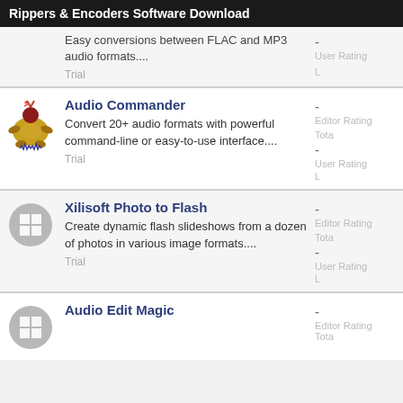Rippers & Encoders Software Download
Easy conversions between FLAC and MP3 audio formats....
Trial
- User Rating
Audio Commander
Convert 20+ audio formats with powerful command-line or easy-to-use interface....
Trial
- Editor Rating  - User Rating
Xilisoft Photo to Flash
Create dynamic flash slideshows from a dozen of photos in various image formats....
Trial
- Editor Rating  - User Rating
Audio Edit Magic
- Editor Rating